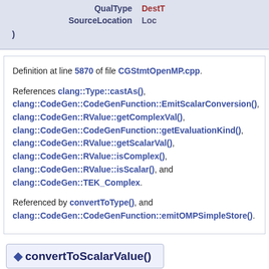| QualType | DestTy |
| --- | --- |
| SourceLocation | Loc |
| ) |  |
Definition at line 5870 of file CGStmtOpenMP.cpp.

References clang::Type::castAs(), clang::CodeGen::CodeGenFunction::EmitScalarConversion(), clang::CodeGen::RValue::getComplexVal(), clang::CodeGen::CodeGenFunction::getEvaluationKind(), clang::CodeGen::RValue::getScalarVal(), clang::CodeGen::RValue::isComplex(), clang::CodeGen::RValue::isScalar(), and clang::CodeGen::TEK_Complex.

Referenced by convertToType(), and clang::CodeGen::CodeGenFunction::emitOMPSimpleStore().
◆ convertToScalarValue()